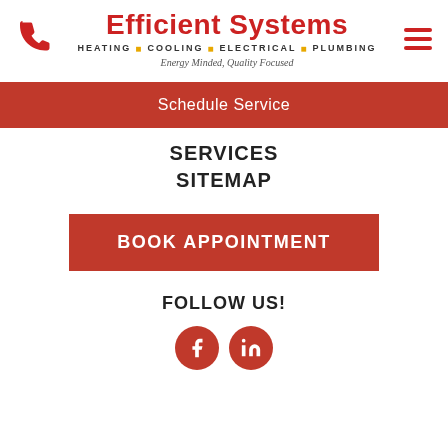[Figure (logo): Efficient Systems logo with phone icon, hamburger menu, company name in red, tagline HEATING COOLING ELECTRICAL PLUMBING, and italic slogan Energy Minded, Quality Focused]
Schedule Service
SERVICES
SITEMAP
BOOK APPOINTMENT
FOLLOW US!
[Figure (other): Facebook and LinkedIn social media icons as red circles with white logos]